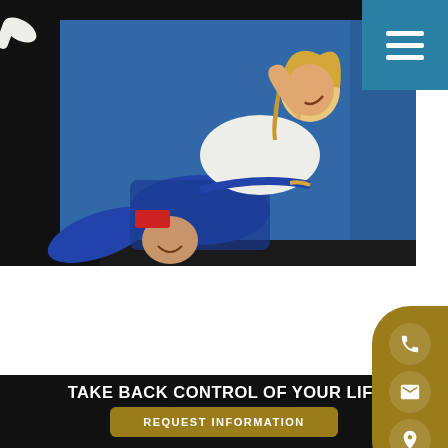[Figure (photo): Two people practicing Brazilian Jiu-Jitsu on blue and black mats. A woman in a white gi gives a thumbs up while on top of a person in a blue gi who is lying on the mat. Both appear to be smiling.]
TAKE BACK CONTROL OF YOUR LIFE!
REQUEST INFORMATION